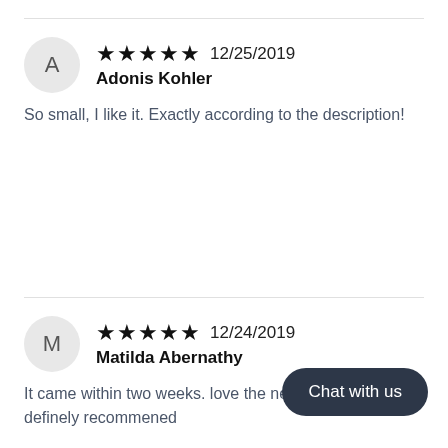Review 1: Adonis Kohler, 5 stars, 12/25/2019 — So small, I like it. Exactly according to the description!
Review 2: Matilda Abernathy, 5 stars, 12/24/2019 — It came within two weeks. love the necklace. definely recommened
Chat with us